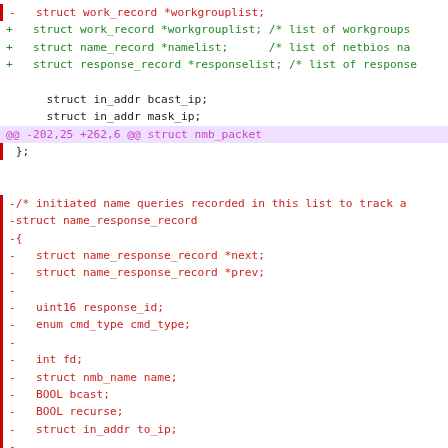[Figure (screenshot): A code diff view showing changes to a C struct definition. Red lines show removed code, green lines show added code, purple shows hunk header. Content includes struct fields for work_record, name_record, response_record, in_addr, nmb_packet, name_response_record and related fields.]